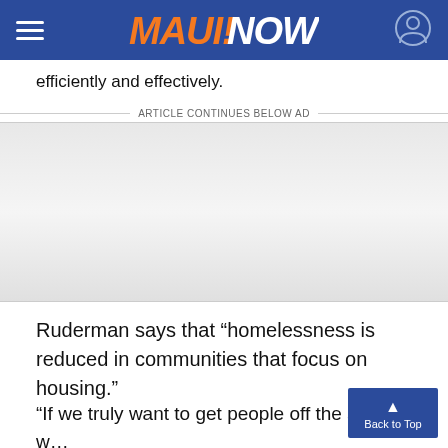MAUI NOW (navigation header)
efficiently and effectively.
ARTICLE CONTINUES BELOW AD
[Figure (other): Advertisement placeholder area with light gray gradient background]
Ruderman says that “homelessness is reduced in communities that focus on housing.”
“If we truly want to get people off the streets, we provide them with a safe place as an alternativ…